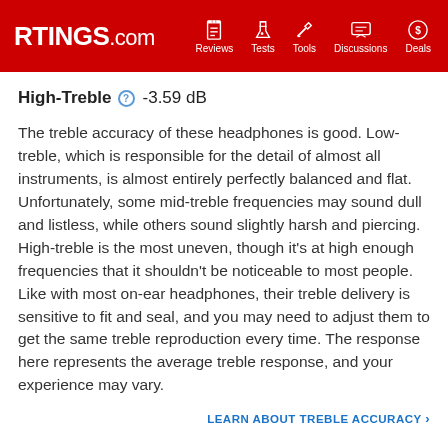RTINGS.com  Reviews  Tests  Tools  Discussions  Deals
High-Treble  -3.59 dB
The treble accuracy of these headphones is good. Low-treble, which is responsible for the detail of almost all instruments, is almost entirely perfectly balanced and flat. Unfortunately, some mid-treble frequencies may sound dull and listless, while others sound slightly harsh and piercing. High-treble is the most uneven, though it's at high enough frequencies that it shouldn't be noticeable to most people. Like with most on-ear headphones, their treble delivery is sensitive to fit and seal, and you may need to adjust them to get the same treble reproduction every time. The response here represents the average treble response, and your experience may vary.
LEARN ABOUT TREBLE ACCURACY ›